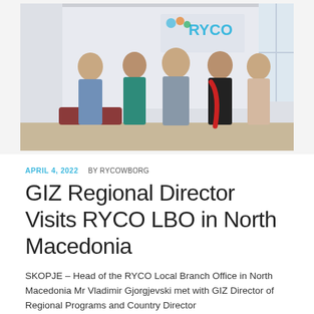[Figure (photo): Group photo of five people standing in front of a RYCO banner/backdrop. Four people visible including three women and two men, standing and smiling. Office setting with a RYCO logo visible in background.]
APRIL 4, 2022   BY RYCOWBORG
GIZ Regional Director Visits RYCO LBO in North Macedonia
SKOPJE – Head of the RYCO Local Branch Office in North Macedonia Mr Vladimir Gjorgjevski met with GIZ Director of Regional Programs and Country Director